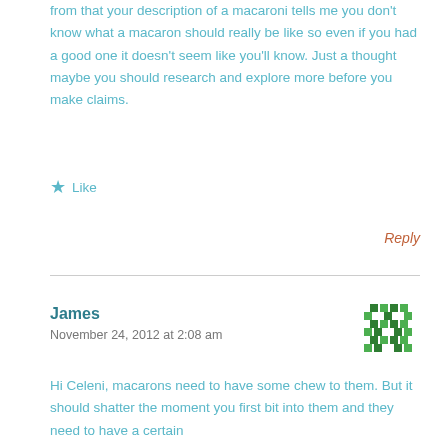from that your description of a macaroni tells me you don't know what a macaron should really be like so even if you had a good one it doesn't seem like you'll know. Just a thought maybe you should research and explore more before you make claims.
★ Like
Reply
James
November 24, 2012 at 2:08 am
[Figure (illustration): Green pixel/mosaic avatar icon for user James]
Hi Celeni, macarons need to have some chew to them. But it should shatter the moment you first bit into them and they need to have a certain